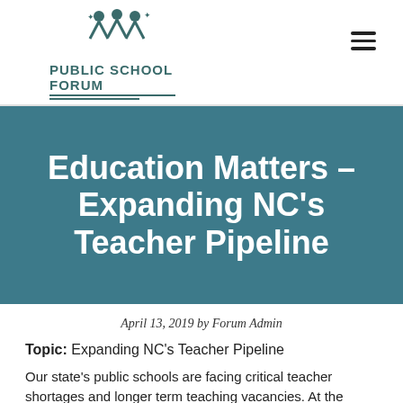PUBLIC SCHOOL FORUM
Education Matters – Expanding NC's Teacher Pipeline
April 13, 2019 by Forum Admin
Topic:  Expanding NC's Teacher Pipeline
Our state's public schools are facing critical teacher shortages and longer term teaching vacancies. At the